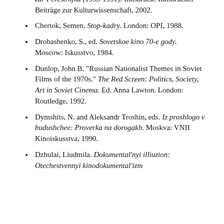Eisenstiens Erben. Der sowjetische Film vom Tauwetter zur Perestrojka (1953-1991). Innsbruck: Innsbrucker Beiträge zur Kulturwissenschaft, 2002.
Chertok, Semen. Stop-kadry. London: OPI, 1988.
Drobashenko, S., ed. Sovetskoe kino 70-e gody. Moscow: Iskusstvo, 1984.
Dunlop, John B. "Russian Nationalist Themes in Soviet Films of the 1970s." The Red Screen: Politics, Society, Art in Soviet Cinema. Ed. Anna Lawton. London: Routledge, 1992.
Dymshits, N. and Aleksandr Troshin, eds. Iz proshlogo v budushchee: Proverka na dorogakh. Moskva: VNII Kinoiskusstva, 1990.
Dzhulai, Liudmila. Dokumental'nyi illiuzion: Otechestvennyi kinodokumental'izm